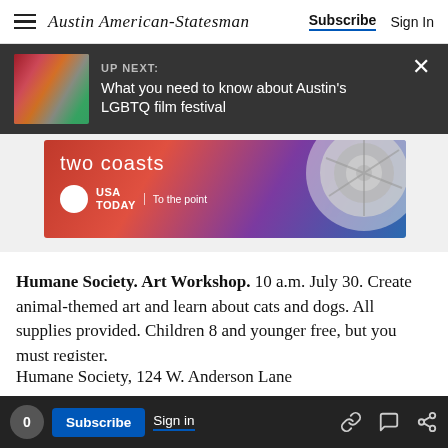Austin American-Statesman | Subscribe | Sign In
[Figure (screenshot): UP NEXT overlay banner with thumbnail image of magazine covers and text: 'What you need to know about Austin's LGBTQ film festival' with close X button]
[Figure (infographic): USA TODAY advertisement banner: 'two coasts' with airplane turbine image, USA TODAY logo and tagline 'To the point']
Humane Society. Art Workshop. 10 a.m. July 30. Create animal-themed art and learn about cats and dogs. All supplies provided. Children 8 and younger free, but you must register,
Humane Society, 124 W. Anderson Lane